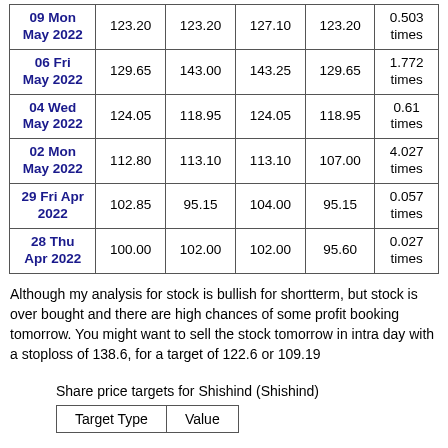| Date | Col1 | Col2 | Col3 | Col4 | Times |
| --- | --- | --- | --- | --- | --- |
| 09 Mon May 2022 | 123.20 | 123.20 | 127.10 | 123.20 | 0.503 times |
| 06 Fri May 2022 | 129.65 | 143.00 | 143.25 | 129.65 | 1.772 times |
| 04 Wed May 2022 | 124.05 | 118.95 | 124.05 | 118.95 | 0.61 times |
| 02 Mon May 2022 | 112.80 | 113.10 | 113.10 | 107.00 | 4.027 times |
| 29 Fri Apr 2022 | 102.85 | 95.15 | 104.00 | 95.15 | 0.057 times |
| 28 Thu Apr 2022 | 100.00 | 102.00 | 102.00 | 95.60 | 0.027 times |
Although my analysis for stock is bullish for shortterm, but stock is over bought and there are high chances of some profit booking tomorrow. You might want to sell the stock tomorrow in intra day with a stoploss of 138.6, for a target of 122.6 or 109.19
Share price targets for Shishind (Shishind)
| Target Type | Value |
| --- | --- |